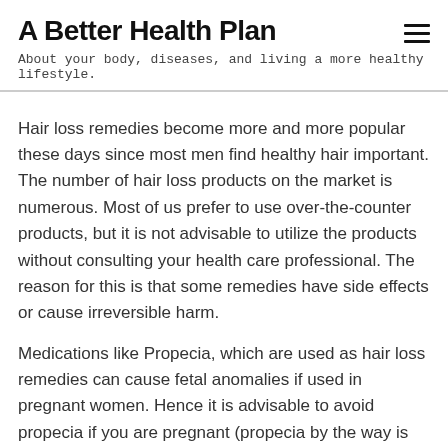A Better Health Plan
About your body, diseases, and living a more healthy lifestyle.
Hair loss remedies become more and more popular these days since most men find healthy hair important. The number of hair loss products on the market is numerous. Most of us prefer to use over-the-counter products, but it is not advisable to utilize the products without consulting your health care professional. The reason for this is that some remedies have side effects or cause irreversible harm.
Medications like Propecia, which are used as hair loss remedies can cause fetal anomalies if used in pregnant women. Hence it is advisable to avoid propecia if you are pregnant (propecia by the way is not recommended for women at all!). Not only in